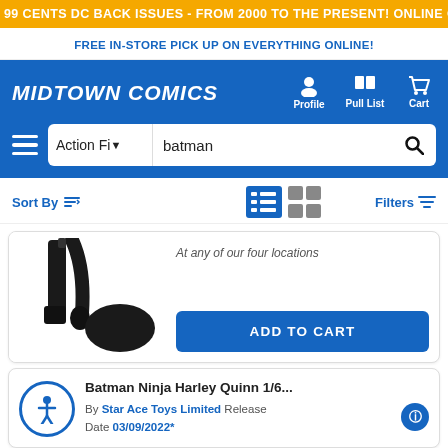99 CENTS DC BACK ISSUES - FROM 2000 TO THE PRESENT! ONLINE ONLY, TODAY ONLY!
FREE IN-STORE PICK UP ON EVERYTHING ONLINE!
MIDTOWN COMICS
Profile  Pull List  Cart
Action Fi▾  batman
Sort By  Filters
[Figure (photo): Partial action figure product image showing legs and a round base]
At any of our four locations
ADD TO CART
Batman Ninja Harley Quinn 1/6... By Star Ace Toys Limited Release Date 03/09/2022*